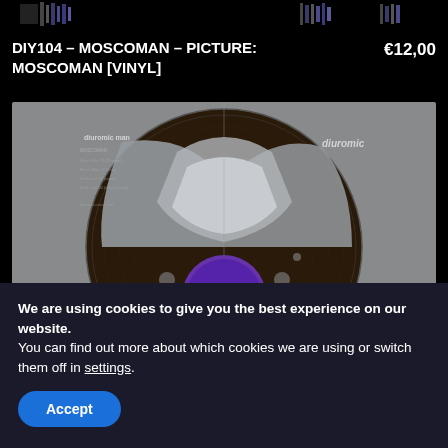DIY104 – MOSCOMAN – PICTURE: MOSCOMAN [VINYL]    €12,00
[Figure (photo): Vinyl record picture disc showing MOSCOMAN album artwork. A large circular vinyl record with a grey background design showing geometric shapes. The center label is purple with small white logo. Text reads 'diuromic' on the right side and 'diyramic man' on the upper left with track listing details.]
We are using cookies to give you the best experience on our website.
You can find out more about which cookies we are using or switch them off in settings.
Accept